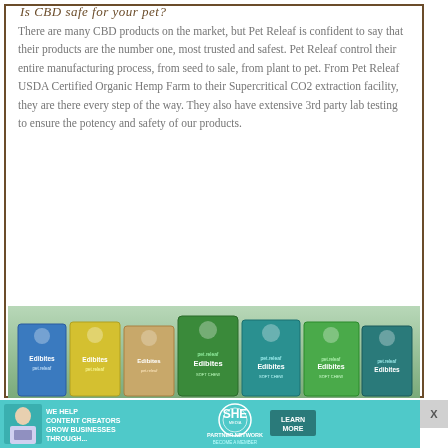Is CBD safe for your pet?
There are many CBD products on the market, but Pet Releaf is confident to say that their products are the number one, most trusted and safest. Pet Releaf control their entire manufacturing process, from seed to sale, from plant to pet. From Pet Releaf USDA Certified Organic Hemp Farm to their Supercritical CO2 extraction facility, they are there every step of the way. They also have extensive 3rd party lab testing to ensure the potency and safety of our products.
[Figure (photo): Row of Pet Releaf Edibites CBD product packages in various colors and sizes including blue, yellow, tan/gold, green and teal soft chew varieties]
[Figure (infographic): SHE Media Partner Network advertisement banner in teal color with text 'We Help Content Creators Grow Businesses Through...' with SHE partner network logo and Learn More button, showing a woman using a laptop]